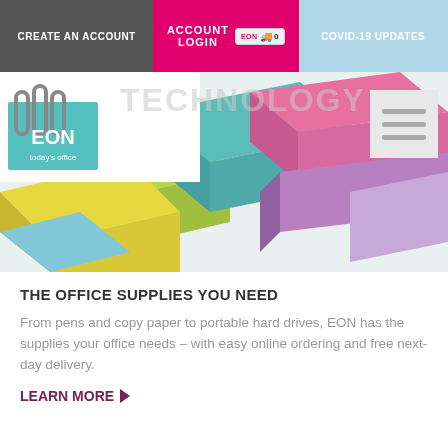CREATE AN ACCOUNT | ACCOUNT LOGIN | COVID-19 UPDATES
[Figure (screenshot): EON Today's Office logo with colorful stacked paper/notes hero image and TECHNOLOGY watermark text, hamburger menu icon top right]
THE OFFICE SUPPLIES YOU NEED
From pens and copy paper to portable hard drives, EON has the supplies your office needs – with easy online ordering and free next-day delivery.
LEARN MORE ▶